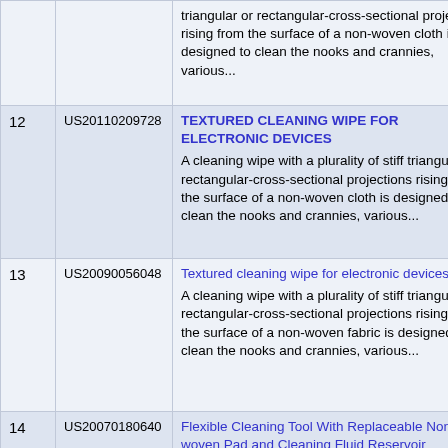| # | Patent ID | Title / Description |
| --- | --- | --- |
|  |  | triangular or rectangular-cross-sectional projections rising from the surface of a non-woven cloth is designed to clean the nooks and crannies, various... |
| 12 | US20110209728 | TEXTURED CLEANING WIPE FOR ELECTRONIC DEVICES
A cleaning wipe with a plurality of stiff triangular or rectangular-cross-sectional projections rising from the surface of a non-woven cloth is designed to clean the nooks and crannies, various... |
| 13 | US20090056048 | Textured cleaning wipe for electronic devices
A cleaning wipe with a plurality of stiff triangular or rectangular-cross-sectional projections rising from the surface of a non-woven fabric is designed to clean the nooks and crannies, various... |
| 14 | US20070180640 | Flexible Cleaning Tool With Replaceable Non-woven Pad and Cleaning Fluid Reservoir
A flexible cleaning tool for use in wet, damp or dry cleaning is disclosed. The cleaning... |